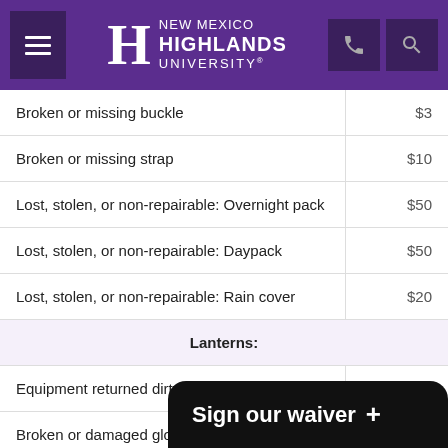[Figure (logo): New Mexico Highlands University logo on purple header with hamburger menu, phone icon, and search icon]
| Item | Fee |
| --- | --- |
| Broken or missing buckle | $3 |
| Broken or missing strap | $10 |
| Lost, stolen, or non-repairable: Overnight pack | $50 |
| Lost, stolen, or non-repairable: Daypack | $50 |
| Lost, stolen, or non-repairable: Rain cover | $20 |
| Lanterns: (section header) |  |
| Equipment returned dirty | $5 |
| Broken or damaged globe | $10 |
| Lost, stolen, or non-repairable: Lantern | $30 |
| Headlamp |  |
Sign our waiver +